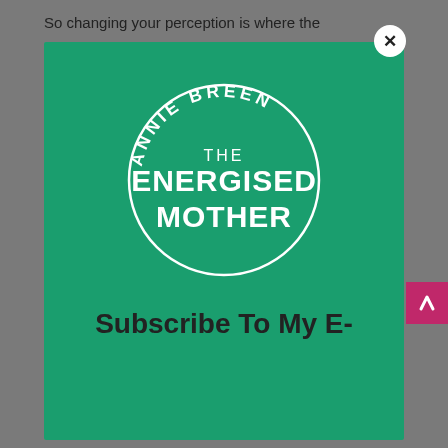So changing your perception is where the
[Figure (logo): Annie Breen - The Energised Mother circular logo: white circle outline on green background with curved text 'ANNIE BREEN' at top and 'THE ENERGISED MOTHER' in large bold text in the center]
Subscribe To My E-